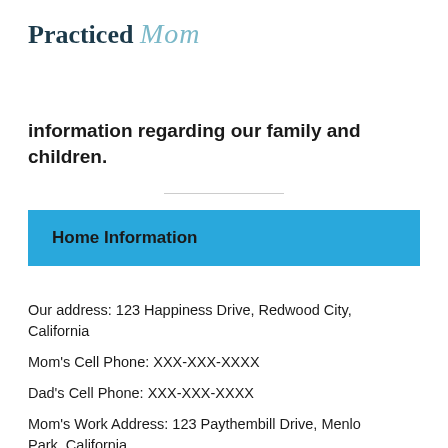Practiced Mom
information regarding our family and children.
Home Information
Our address: 123 Happiness Drive, Redwood City, California
Mom's Cell Phone: XXX-XXX-XXXX
Dad's Cell Phone: XXX-XXX-XXXX
Mom's Work Address: 123 Paythembill Drive, Menlo Park, California